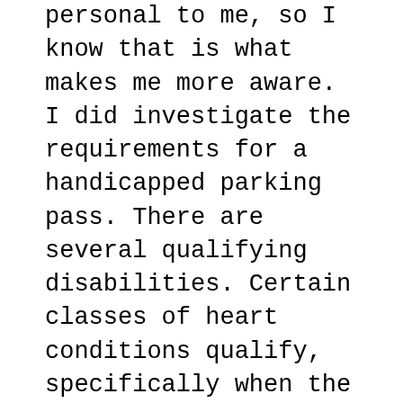personal to me, so I know that is what makes me more aware. I did investigate the requirements for a handicapped parking pass. There are several qualifying disabilities. Certain classes of heart conditions qualify, specifically when the person is unable to perform simple activities without incidence. I am still not sure how that relates to the man in the truck. Let's just say he was working on his health. In the case of the above, the